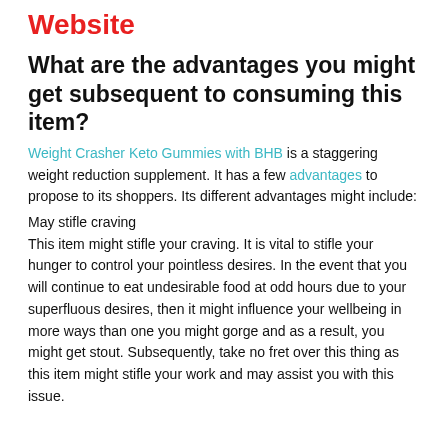Website
What are the advantages you might get subsequent to consuming this item?
Weight Crasher Keto Gummies with BHB is a staggering weight reduction supplement. It has a few advantages to propose to its shoppers. Its different advantages might include:
May stifle craving
This item might stifle your craving. It is vital to stifle your hunger to control your pointless desires. In the event that you will continue to eat undesirable food at odd hours due to your superfluous desires, then it might influence your wellbeing in more ways than one you might gorge and as a result, you might get stout. Subsequently, take no fret over this thing as this item might stifle your work and may assist you with this issue.